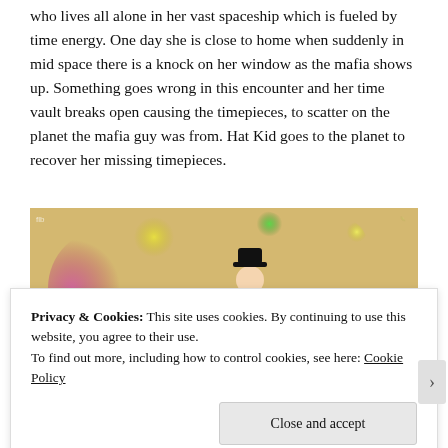who lives all alone in her vast spaceship which is fueled by time energy. One day she is close to home when suddenly in mid space there is a knock on her window as the mafia shows up. Something goes wrong in this encounter and her time vault breaks open causing the timepieces, to scatter on the planet the mafia guy was from. Hat Kid goes to the planet to recover her missing timepieces.
[Figure (photo): A colorful, blurred screenshot from the video game 'A Hat in Time' showing Hat Kid character with a red and black hat in a vibrant, colorful environment with bokeh-like background lights.]
Privacy & Cookies: This site uses cookies. By continuing to use this website, you agree to their use.
To find out more, including how to control cookies, see here: Cookie Policy
Close and accept